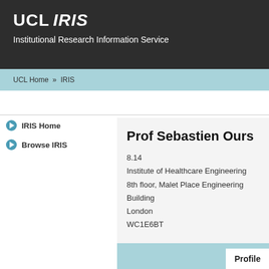UCL IRIS – Institutional Research Information Service
UCL Home » IRIS
IRIS Home
Browse IRIS
Prof Sebastien Ours
8.14
Institute of Healthcare Engineering
8th floor, Malet Place Engineering Building
London
WC1E6BT
Profile